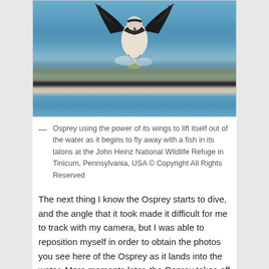[Figure (photo): Osprey using its wings to lift itself out of water while holding a fish in its talons, photographed at John Heinz National Wildlife Refuge in Tinicum, Pennsylvania, USA.]
— Osprey using the power of its wings to lift itself out of the water as it begins to fly away with a fish in its talons at the John Heinz National Wildlife Refuge in Tinicum, Pennsylvania, USA © Copyright All Rights Reserved
The next thing I know the Osprey starts to dive, and the angle that it took made it difficult for me to track with my camera, but I was able to reposition myself in order to obtain the photos you see here of the Osprey as it lands into the water. Mere moments later, the Osprey takes off